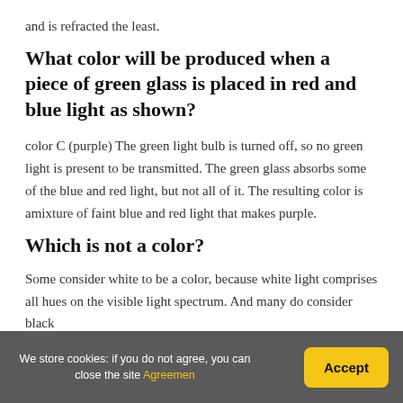and is refracted the least.
What color will be produced when a piece of green glass is placed in red and blue light as shown?
color C (purple) The green light bulb is turned off, so no green light is present to be transmitted. The green glass absorbs some of the blue and red light, but not all of it. The resulting color is amixture of faint blue and red light that makes purple.
Which is not a color?
Some consider white to be a color, because white light comprises all hues on the visible light spectrum. And many do consider black
We store cookies: if you do not agree, you can close the site Agreemen    Accept